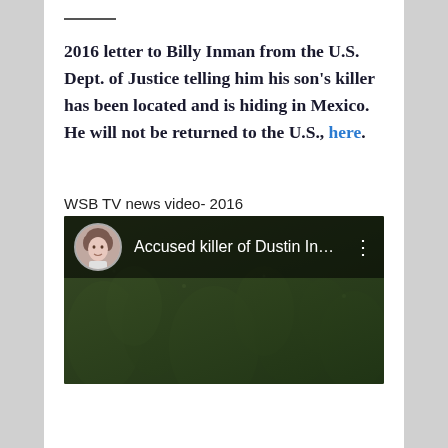2016 letter to Billy Inman from the U.S. Dept. of Justice telling him his son's killer has been located and is hiding in Mexico. He will not be returned to the U.S., here.
WSB TV news video- 2016
[Figure (screenshot): YouTube video thumbnail showing 'Accused killer of Dustin In...' with a channel avatar of a woman and a dark green blurry background of trees/foliage.]